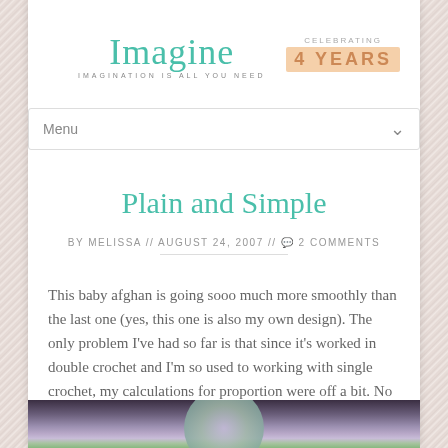Imagine — IMAGINATION IS ALL YOU NEED | CELEBRATING 4 YEARS
Menu
Plain and Simple
BY MELISSA // AUGUST 24, 2007 // 💬 2 COMMENTS
This baby afghan is going sooo much more smoothly than the last one (yes, this one is also my own design). The only problem I've had so far is that since it's worked in double crochet and I'm so used to working with single crochet, my calculations for proportion were off a bit. No biggie. Anyway, as you can see, progress has been made.
[Figure (photo): A partially completed baby afghan in purple and green tones, crocheted in double crochet stitch, shown in progress.]